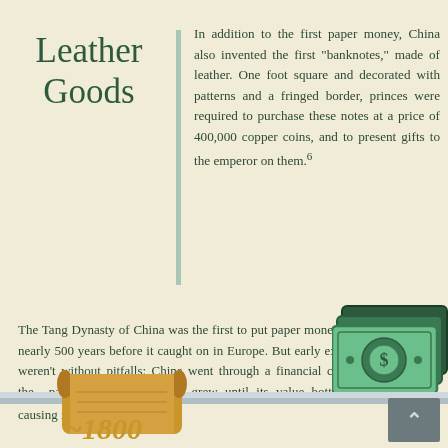Leather Goods
In addition to the first paper money, China also invented the first "banknotes," made of leather. One foot square and decorated with patterns and a fringed border, princes were required to purchase these notes at a price of 400,000 copper coins, and to present gifts to the emperor on them.⁶
The Tang Dynasty of China was the first to put paper money into use, nearly 500 years before it caught on in Europe. But early experiments weren't without pitfalls: China went through a financial crisis when the paper money production grew until its value bottomed out, causing massive inflation.⁷
[Figure (illustration): Stylized illustration of paper banknotes/money bills in green tones with decorative border]
[Figure (illustration): Scroll icon in brown/tan color at bottom of timeline]
~1800